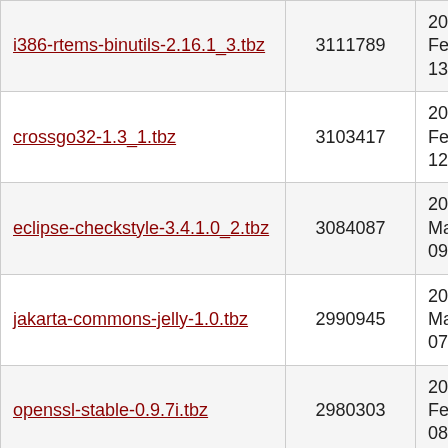| Filename | Size | Date |
| --- | --- | --- |
| i386-rtems-binutils-2.16.1_3.tbz | 3111789 | 2006-Feb-26 13:23 |
| crossgo32-1.3_1.tbz | 3103417 | 2006-Feb-26 12:10 |
| eclipse-checkstyle-3.4.1.0_2.tbz | 3084087 | 2006-Mar-25 09:55 |
| jakarta-commons-jelly-1.0.tbz | 2990945 | 2006-Mar-25 07:10 |
| openssl-stable-0.9.7i.tbz | 2980303 | 2006-Feb-26 08:59 |
| arm-rtems-binutils-2.16.1_3.tbz | 2937737 | 2006-Feb-26 12:09 |
| cmake-2.2.3.tbz | 2910312 | 2006-Feb-26 12:59 |
| argtable-2.6_1.tbz | 2866126 | 2006-Feb-26 03:34 |